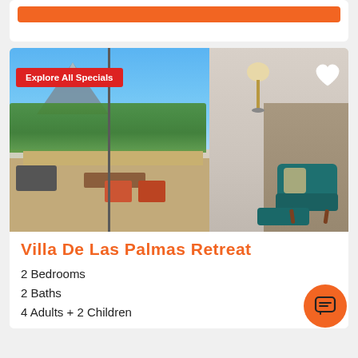[Figure (screenshot): Top of a card with an orange button/bar at the top]
[Figure (photo): Interior photo of a vacation rental living room with sliding glass doors opening to a patio with outdoor furniture, palm trees, and mountains visible. A teal mid-century modern chair and ottoman are in the foreground right. A red badge reads 'Explore All Specials'. A white heart icon is in the top right.]
Villa De Las Palmas Retreat
2 Bedrooms
2 Baths
4 Adults + 2 Children